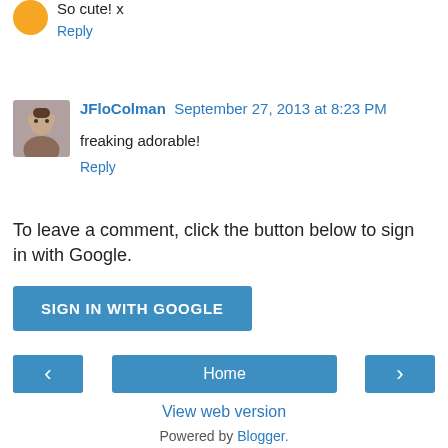So cute! x
Reply
JFloColman September 27, 2013 at 8:23 PM
freaking adorable!
Reply
To leave a comment, click the button below to sign in with Google.
SIGN IN WITH GOOGLE
Home
View web version
Powered by Blogger.